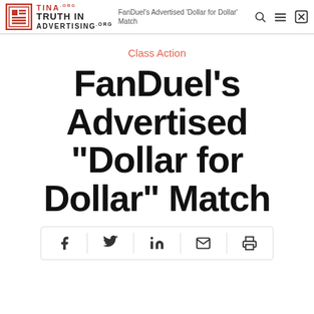Truth in Advertising | FanDuel's Advertised 'Dollar for Dollar' Match
Class Action
FanDuel’s Advertised “Dollar for Dollar” Match
[Figure (infographic): Social share bar with icons for Facebook, Twitter, LinkedIn, Email, and Print]